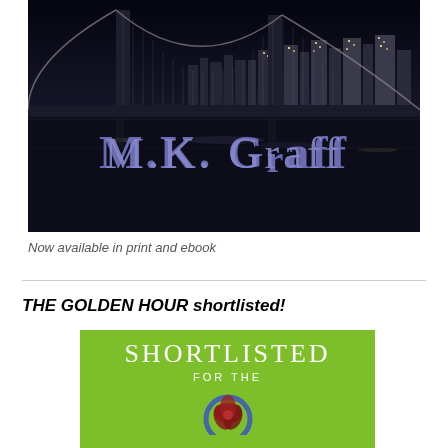[Figure (photo): Black and white nighttime photo of a large bridge (Brooklyn Bridge) with a lit city skyline in the background reflected on dark water. The author name 'M.K. GRAFF' is overlaid in blue-purple large serif text across the center of the image.]
Now available in print and ebook
THE GOLDEN HOUR shortlisted!
[Figure (other): Green banner graphic reading 'SHORTLISTED FOR THE' with a partially visible award logo (appears to be a literary award medallion with a red and blue decorative emblem) at the bottom.]